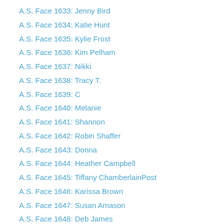A.S. Face 1633: Jenny Bird
A.S. Face 1634: Katie Hunt
A.S. Face 1635: Kylie Frost
A.S. Face 1636: Kim Pelham
A.S. Face 1637: Nikki
A.S. Face 1638: Tracy T.
A.S. Face 1639: C
A.S. Face 1640: Melanie
A.S. Face 1641: Shannon
A.S. Face 1642: Robin Shaffer
A.S. Face 1643: Donna
A.S. Face 1644: Heather Campbell
A.S. Face 1645: Tiffany ChamberlainPost
A.S. Face 1646: Karissa Brown
A.S. Face 1647: Susan Amason
A.S. Face 1648: Deb James
A.S. Face 1649: Carrie Kellenberger
A.S. Face 1650: Kirsten Early
A.S. Face 1651: Melinda Gough
A.S. Face 1652: Heidi Wittmayer